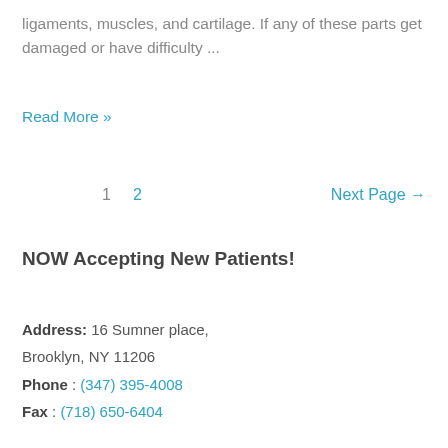ligaments, muscles, and cartilage. If any of these parts get damaged or have difficulty ...
Read More »
1  2  Next Page →
NOW Accepting New Patients!
Address: 16 Sumner place, Brooklyn, NY 11206
Phone : (347) 395-4008
Fax : (718) 650-6404